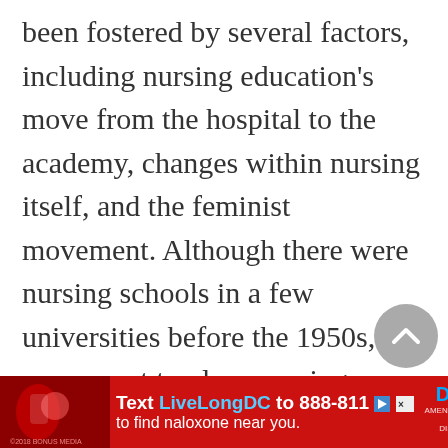been fostered by several factors, including nursing education's move from the hospital to the academy, changes within nursing itself, and the feminist movement. Although there were nursing schools in a few universities before the 1950s, the movement to place nursing education and research in universities has accelerated since then. This move required nursing to establish its place in an academic setting. Largely nu...
[Figure (other): Advertisement banner at the bottom of the page: red background with microphone image on left, text 'Text LiveLongDC to 888-811 to find naloxone near you.' with DCH logo and close/play icons.]